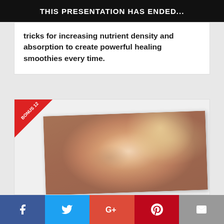THIS PRESENTATION HAS ENDED...
tricks for increasing nutrient density and absorption to create powerful healing smoothies every time.
[Figure (photo): Bonus 12 ribbon badge overlaying a slightly rotated photo of a smiling blonde woman with wind-blown hair against a reddish-brown blurred background.]
Facebook | Twitter | Google+ | Pinterest | Email social share buttons